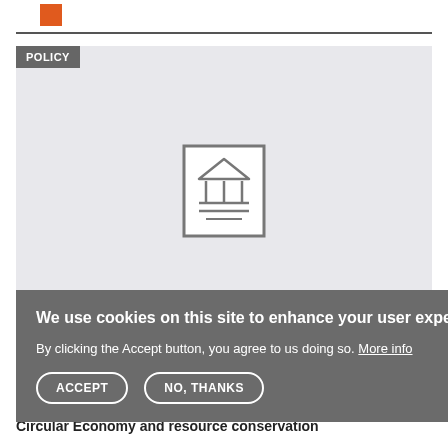[Figure (logo): Small orange square logo in top left header area]
[Figure (illustration): Light grey rectangular image area with a centered line-art document/institution icon (building with columns and document lines)]
POLICY
We use cookies on this site to enhance your user experience
By clicking the Accept button, you agree to us doing so. More info
ACCEPT   NO, THANKS
FEBRUARY 2022 | SWISS FEDERAL OFFICE FOR THE ENVIRONMENT (FOEN)
Circular Economy and resource conservation